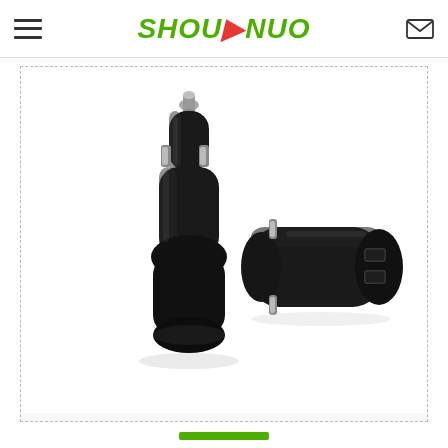SHOUINUO - navigation header with hamburger menu and email icon
[Figure (photo): Two black USB car chargers shown side by side. The left charger shows the top/plug end with a metallic tip and spring clips. The right charger shows the USB port end with two rectangular USB-A ports. Both are matte black with metallic accent clips.]